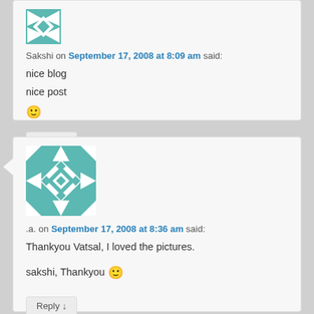[Figure (illustration): Small teal/green avatar icon with arrow pattern for Sakshi]
Sakshi on September 17, 2008 at 8:09 am said:
nice blog
nice post
🙂
Reply ↓
[Figure (illustration): Large teal geometric/quilt pattern avatar for .a.]
.a. on September 17, 2008 at 8:36 am said:
Thankyou Vatsal, I loved the pictures.
sakshi, Thankyou 🙂
Reply ↓